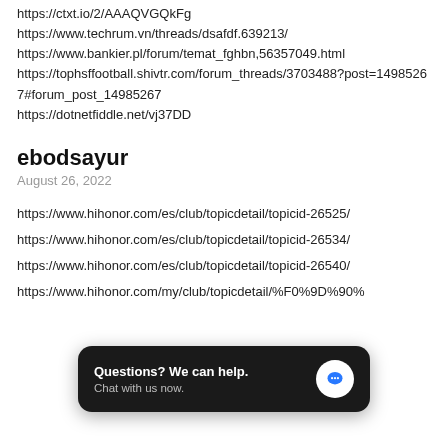https://ctxt.io/2/AAAQVGQkFg
https://www.techrum.vn/threads/dsafdf.639213/
https://www.bankier.pl/forum/temat_fghbn,56357049.html
https://tophsffootball.shivtr.com/forum_threads/3703488?post=14985267#forum_post_14985267
https://dotnetfiddle.net/vj37DD
ebodsayur
August 26, 2022
https://www.hihonor.com/es/club/topicdetail/topicid-26525/
https://www.hihonor.com/es/club/topicdetail/topicid-26534/
https://www.hihonor.com/es/club/topicdetail/topicid-26540/
https://www.hihonor.com/my/club/topicdetail/%F0%9D%90%